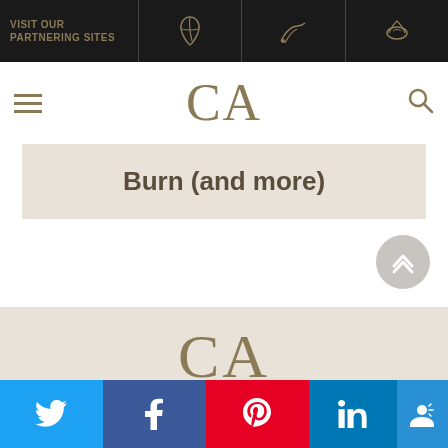VISIT OUR PARTNERING SITES
[Figure (logo): CA logo in navigation bar]
Burn (and more)
[Figure (logo): CA - Cigar Advisor logo in footer section]
CIGAR ADVISOR
Social sharing bar: Twitter, Facebook, Pinterest, LinkedIn, Accessibility